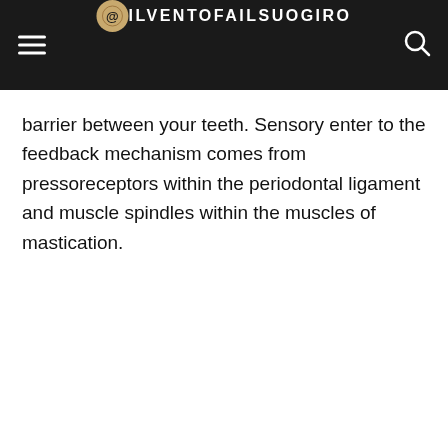ILVENTOFAILSUOGIRO
barrier between your teeth. Sensory enter to the feedback mechanism comes from pressoreceptors within the periodontal ligament and muscle spindles within the muscles of mastication.